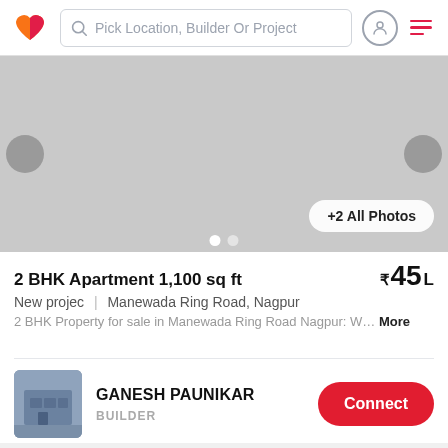Pick Location, Builder Or Project
[Figure (photo): Property listing image placeholder (grey background with navigation arrows and dot indicators). Shows '+2 All Photos' button.]
2 BHK Apartment 1,100 sq ft
₹45 L
New projec  |  Manewada Ring Road, Nagpur
2 BHK Property for sale in Manewada Ring Road Nagpur: W… More
GANESH PAUNIKAR
BUILDER
[Figure (photo): Second property listing image placeholder (grey background with pill-shaped overlay, heart icons, and navigation arrow circles at bottom corners).]